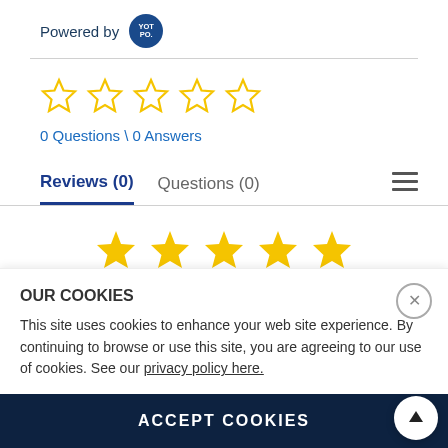[Figure (logo): Powered by YOTPO logo — dark blue circle with YOT PO. text in white]
0 Questions \ 0 Answers
Reviews (0)   Questions (0)
[Figure (other): Five golden/yellow filled star rating icons]
OUR COOKIES
This site uses cookies to enhance your web site experience. By continuing to browse or use this site, you are agreeing to our use of cookies. See our privacy policy here.
ACCEPT COOKIES